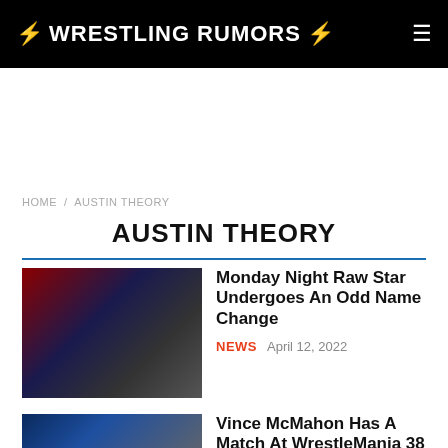⚡ WRESTLING RUMORS ⚡
HOME / AUSTIN THEORY
AUSTIN THEORY
[Figure (photo): WWE wrestler on the mat during a match, referee nearby]
Monday Night Raw Star Undergoes An Odd Name Change
NEWS   April 12, 2022
[Figure (photo): Two men at WrestleMania event]
Vince McMahon Has A Match At WrestleMania 38 And Then Things Go...